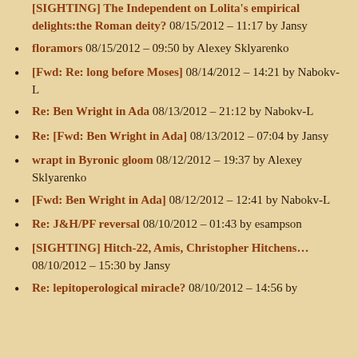[SIGHTING] The Independent on Lolita's empirical delights:the Roman deity? 08/15/2012 - 11:17 by Jansy
floramors 08/15/2012 - 09:50 by Alexey Sklyarenko
[Fwd: Re: long before Moses] 08/14/2012 - 14:21 by Nabokv-L
Re: Ben Wright in Ada 08/13/2012 - 21:12 by Nabokv-L
Re: [Fwd: Ben Wright in Ada] 08/13/2012 - 07:04 by Jansy
wrapt in Byronic gloom 08/12/2012 - 19:37 by Alexey Sklyarenko
[Fwd: Ben Wright in Ada] 08/12/2012 - 12:41 by Nabokv-L
Re: J&H/PF reversal 08/10/2012 - 01:43 by esampson
[SIGHTING] Hitch-22, Amis, Christopher Hitchens... 08/10/2012 - 15:30 by Jansy
Re: lepitoperological miracle? 08/10/2012 - 14:56 by